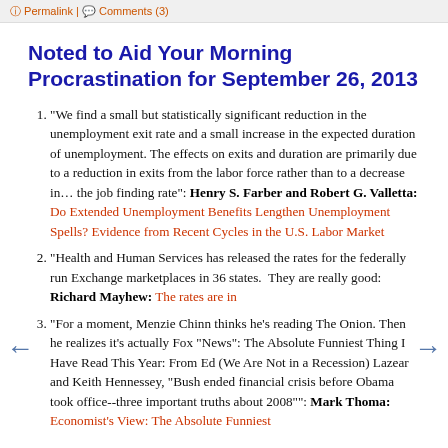Permalink | Comments (3)
Noted to Aid Your Morning Procrastination for September 26, 2013
"We find a small but statistically significant reduction in the unemployment exit rate and a small increase in the expected duration of unemployment. The effects on exits and duration are primarily due to a reduction in exits from the labor force rather than to a decrease in… the job finding rate": Henry S. Farber and Robert G. Valletta: Do Extended Unemployment Benefits Lengthen Unemployment Spells? Evidence from Recent Cycles in the U.S. Labor Market
"Health and Human Services has released the rates for the federally run Exchange marketplaces in 36 states.  They are really good: Richard Mayhew: The rates are in
"For a moment, Menzie Chinn thinks he's reading The Onion. Then he realizes it's actually Fox "News": The Absolute Funniest Thing I Have Read This Year: From Ed (We Are Not in a Recession) Lazear and Keith Hennessey, "Bush ended financial crisis before Obama took office--three important truths about 2008"": Mark Thoma: Economist's View: The Absolute Funniest